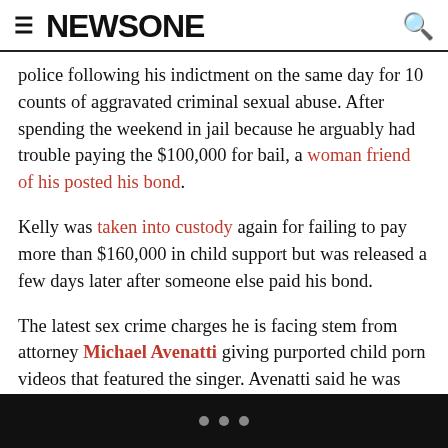NEWSONE
police following his indictment on the same day for 10 counts of aggravated criminal sexual abuse. After spending the weekend in jail because he arguably had trouble paying the $100,000 for bail, a woman friend of his posted his bond.
Kelly was taken into custody again for failing to pay more than $160,000 in child support but was released a few days later after someone else paid his bond.
The latest sex crime charges he is facing stem from attorney Michael Avenatti giving purported child porn videos that featured the singer. Avenatti said he was hired last April in connection to multiple allegations of Kelly sexually assaulting minors. He claimed to have